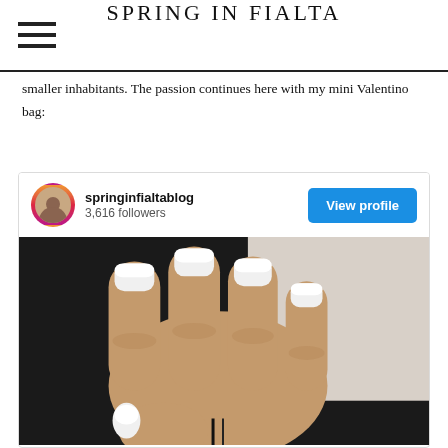SPRING IN FIALTA
smaller inhabitants. The passion continues here with my mini Valentino bag:
[Figure (screenshot): An embedded Instagram profile widget showing user 'springinfialtablog' with 3,616 followers and a 'View profile' button, with a photo below showing a hand with white-painted nails holding a small Valentino bag with a pink and dark magenta geometric pattern]